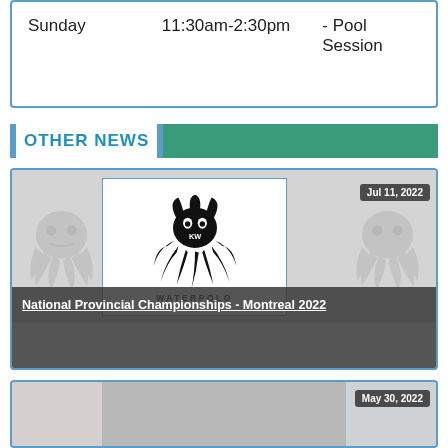Sunday    11:30am-2:30pm    - Pool Session
OTHER NEWS
[Figure (logo): KW Waterpolo octopus logo with text WATERPOLO, dated Jul 11, 2022, with link: National Provincial Championships - Montreal 2022]
National Provincial Championships - Montreal 2022
[Figure (photo): News card image dated May 30, 2022]